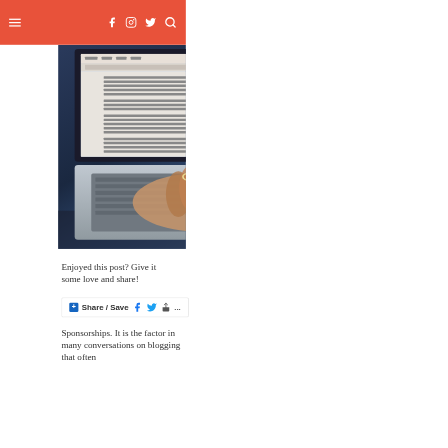navigation header with hamburger menu and social icons
[Figure (photo): A hand typing on a MacBook laptop with a Word document visible on screen, photographed from the side]
Enjoyed this post? Give it some love and share!
[Figure (infographic): Share / Save button with Facebook, Twitter, and share icons]
Sponsorships. It is the factor in many conversations on blogging that often